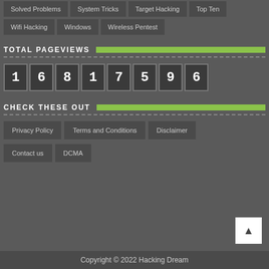Solved Problems
System Tricks
Target Hacking
Top Ten
Wifi Hacking
Windows
Wireless Pentest
TOTAL PAGEVIEWS
1 6 8 1 7 5 9 6
CHECK THESE OUT
Privacy Policy
Terms and Conditions
Disclaimer
Contact us
DCMA
Copyright © 2022 Hacking Dream